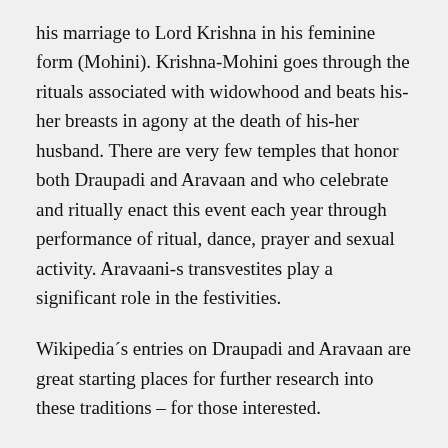his marriage to Lord Krishna in his feminine form (Mohini). Krishna-Mohini goes through the rituals associated with widowhood and beats his-her breasts in agony at the death of his-her husband. There are very few temples that honor both Draupadi and Aravaan and who celebrate and ritually enact this event each year through performance of ritual, dance, prayer and sexual activity. Aravaani-s transvestites play a significant role in the festivities.
Wikipedia´s entries on Draupadi and Aravaan are great starting places for further research into these traditions – for those interested.
What is also interesting is that I´d passed by Draupadi-Aravaan temples just yesterday on the train...